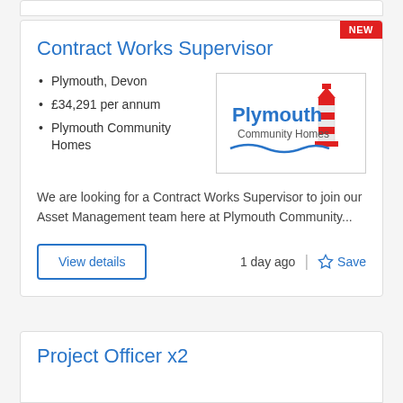Contract Works Supervisor
Plymouth, Devon
£34,291 per annum
Plymouth Community Homes
[Figure (logo): Plymouth Community Homes logo with lighthouse illustration and blue wave]
We are looking for a Contract Works Supervisor to join our Asset Management team here at Plymouth Community...
Project Officer x2